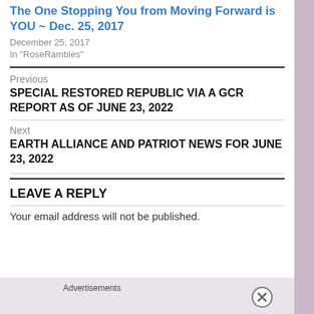The One Stopping You from Moving Forward is YOU ~ Dec. 25, 2017
December 25, 2017
In "RoseRambles"
Previous
SPECIAL RESTORED REPUBLIC VIA A GCR REPORT AS OF JUNE 23, 2022
Next
EARTH ALLIANCE AND PATRIOT NEWS FOR JUNE 23, 2022
LEAVE A REPLY
Your email address will not be published.
Advertisements